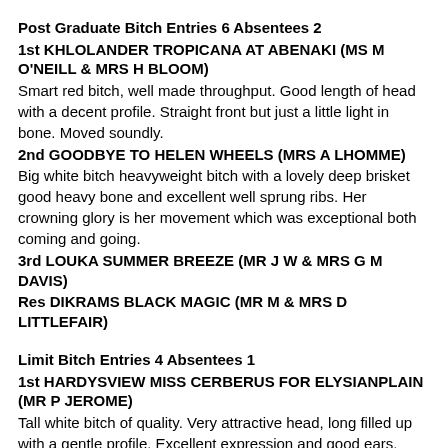Post Graduate Bitch Entries 6 Absentees 2
1st KHLOLANDER TROPICANA AT ABENAKI (MS M O'NEILL & MRS H BLOOM)
Smart red bitch, well made throughput. Good length of head with a decent profile. Straight front but just a little light in bone. Moved soundly.
2nd GOODBYE TO HELEN WHEELS (MRS A LHOMME)
Big white bitch heavyweight bitch with a lovely deep brisket good heavy bone and excellent well sprung ribs. Her crowning glory is her movement which was exceptional both coming and going.
3rd LOUKA SUMMER BREEZE (MR J W & MRS G M DAVIS)
Res DIKRAMS BLACK MAGIC (MR M & MRS D LITTLEFAIR)
Limit Bitch Entries 4 Absentees 1
1st HARDYSVIEW MISS CERBERUS FOR ELYSIANPLAIN (MR P JEROME)
Tall white bitch of quality. Very attractive head, long filled up with a gentle profile. Excellent expression and good ears. Good bone and substance. A little loose in topline.